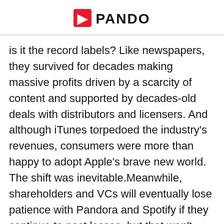PANDO
is it the record labels? Like newspapers, they survived for decades making massive profits driven by a scarcity of content and supported by decades-old deals with distributors and licensers. And although iTunes torpedoed the industry's revenues, consumers were more than happy to adopt Apple's brave new world. The shift was inevitable.Meanwhile, shareholders and VCs will eventually lose patience with Pandora and Spotify if they continue to post losses, but that won't help the record companies. Users will find other ways to listen to the music they love with...